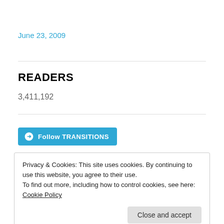June 23, 2009
READERS
3,411,192
[Figure (other): Follow TRANSITIONS button with WordPress logo]
Privacy & Cookies: This site uses cookies. By continuing to use this website, you agree to their use.
To find out more, including how to control cookies, see here: Cookie Policy
Close and accept